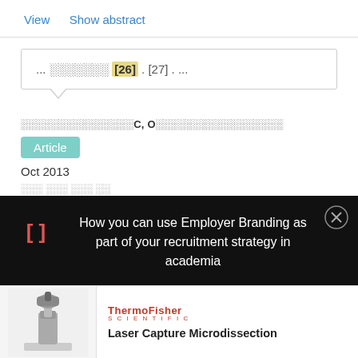View   Show abstract
... □□□□□□□ [26] . [27] . ...
□□□□□□□□□□□□□□□C, O□□□□□□□□□□□□□□□□
Article
Oct 2013
How you can use Employer Branding as part of your recruitment strategy in academia
[Figure (screenshot): Advertisement banner showing ThermoFisher Scientific Laser Capture Microdissection instrument]
Laser Capture Microdissection